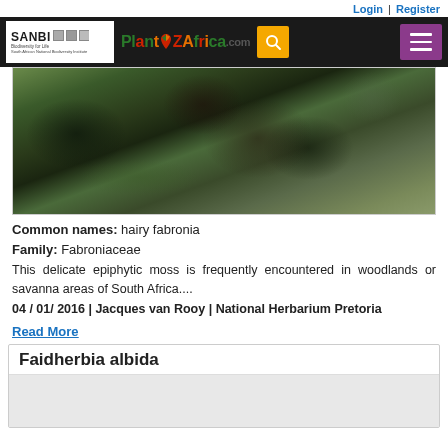Login | Register
[Figure (screenshot): PlantZAfrica.com website navigation bar with SANBI logo, PlantZAfrica.com logo, search icon, and hamburger menu]
[Figure (photo): Close-up photo of hairy fabronia moss growing on tree bark, showing green and dark textured surface]
Common names: hairy fabronia
Family: Fabroniaceae
This delicate epiphytic moss is frequently encountered in woodlands or savanna areas of South Africa....
04 / 01/ 2016 | Jacques van Rooy | National Herbarium Pretoria
Read More
Faidherbia albida